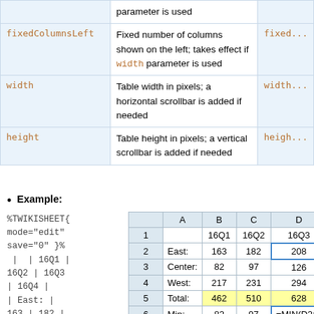| Parameter | Description | Example |
| --- | --- | --- |
| fixedColumnsLeft | Fixed number of columns shown on the left; takes effect if width parameter is used | fixed... |
| width | Table width in pixels; a horizontal scrollbar is added if needed | width... |
| height | Table height in pixels; a vertical scrollbar is added if needed | heigh... |
Example:
%TWIKISHEET{
mode="edit"
save="0" }%
| | 16Q1 |
16Q2 | 16Q3
| 16Q4 |
| East: |
163 | 182 |
208 | 193 |
| Center: |
82 | 97 |
|  | A | B | C | D | E |
| --- | --- | --- | --- | --- | --- |
| 1 |  | 16Q1 | 16Q2 | 16Q3 | 16Q... |
| 2 | East: | 163 | 182 | 208 | 193... |
| 3 | Center: | 82 | 97 | 126 | 91 |
| 4 | West: | 217 | 231 | 294 | 249... |
| 5 | Total: | 462 | 510 | 628 | 533... |
| 6 | Min: | 82 | 97 | =MIN(D2:D | ... |
| 7 | Max: | 217 | 231 | 294 | 249... |